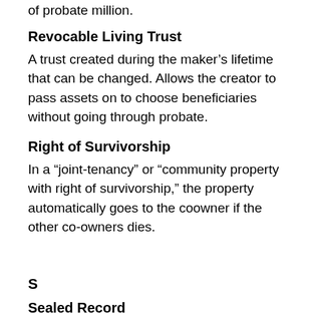of probate million.
Revocable Living Trust
A trust created during the maker's lifetime that can be changed. Allows the creator to pass assets on to choose beneficiaries without going through probate.
Right of Survivorship
In a “joint-tenancy” or “community property with right of survivorship,” the property automatically goes to the coowner if the other co-owners dies.
S
Sealed Record
A record closed by a court to further inspection by anyone unless further ordered by the court